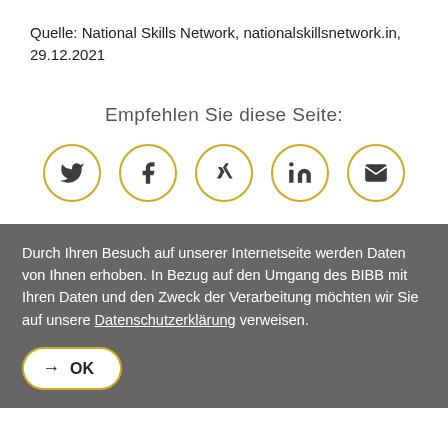Quelle: National Skills Network, nationalskillsnetwork.in, 29.12.2021
Empfehlen Sie diese Seite:
[Figure (infographic): Five social media sharing icons in yellow-bordered circles: Twitter, Facebook, Xing, LinkedIn, Email]
Durch Ihren Besuch auf unserer Internetseite werden Daten von Ihnen erhoben. In Bezug auf den Umgang des BIBB mit Ihren Daten und den Zweck der Verarbeitung möchten wir Sie auf unsere Datenschutzerklärung verweisen.
→ OK